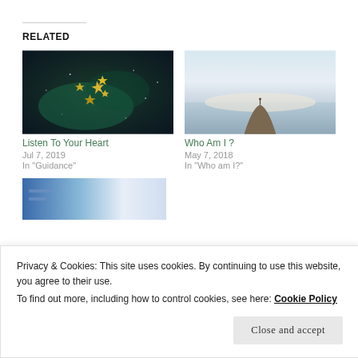RELATED
[Figure (photo): Dark starry night sky with golden star shapes forming a heart, bokeh effect]
Listen To Your Heart
Jul 7, 2019
In "Guidance"
[Figure (photo): Person standing on a rock in a misty ocean, minimalist blue-grey tones]
Who Am I ?
May 7, 2018
In "Who am I?"
[Figure (photo): Blue gradient image with faint text overlay]
Privacy & Cookies: This site uses cookies. By continuing to use this website, you agree to their use.
To find out more, including how to control cookies, see here: Cookie Policy
Close and accept
In "Guidance"